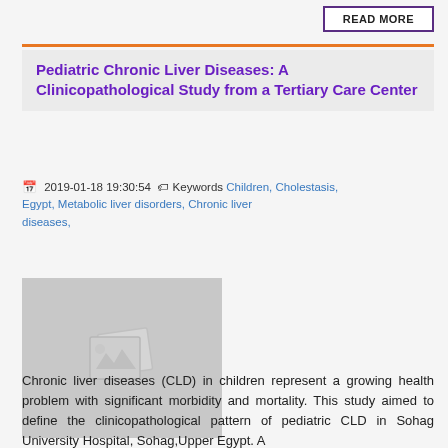READ MORE
Pediatric Chronic Liver Diseases: A Clinicopathological Study from a Tertiary Care Center
2019-01-18 19:30:54  Keywords Children, Cholestasis, Egypt, Metabolic liver disorders, Chronic liver diseases,
[Figure (photo): Placeholder image thumbnail with image icon]
Chronic liver diseases (CLD) in children represent a growing health problem with significant morbidity and mortality. This study aimed to define the clinicopathological pattern of pediatric CLD in Sohag University Hospital, Sohag,Upper Egypt. A